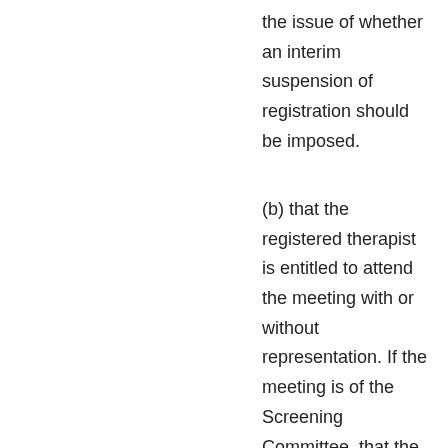the issue of whether an interim suspension of registration should be imposed.
(b) that the registered therapist is entitled to attend the meeting with or without representation. If the meeting is of the Screening Committee, that the registered therapist is entitled to be accompanied by her/his medical practitioner or her/his assessor.
36.2 The notification specified in 36.1 above will be accompanied by copies of any information and/or documentation in the Regulatory Body's possession relevant to the question of interim suspension to be